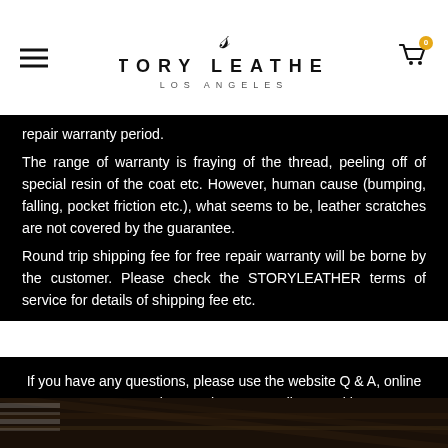STORY LEATHER LOS ANGELES
repair warranty period.
The range of warranty is fraying of the thread, peeling off of special resin of the coat etc. However, human cause (bumping, falling, pocket friction etc.), what seems to be, leather scratches are not covered by the guarantee.
Round trip shipping fee for free repair warranty will be borne by the customer. Please check the STORYLEATHER terms of service for details of shipping fee etc.
If you have any questions, please use the website Q & A, online customer service or WhatsApp to discuss with us
Q&A
[Figure (photo): Bottom strip showing a close-up photo of leather crafting or stitching process with hands and tools visible]